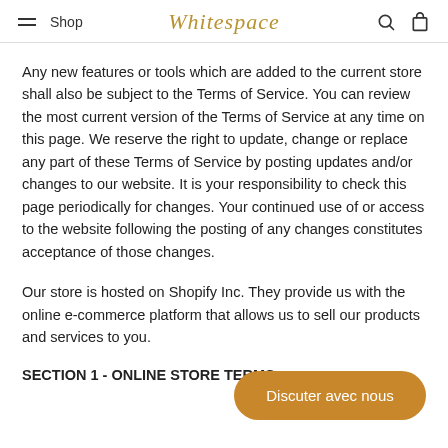Shop | Whitegrens | Search | Bag
Any new features or tools which are added to the current store shall also be subject to the Terms of Service. You can review the most current version of the Terms of Service at any time on this page. We reserve the right to update, change or replace any part of these Terms of Service by posting updates and/or changes to our website. It is your responsibility to check this page periodically for changes. Your continued use of or access to the website following the posting of any changes constitutes acceptance of those changes.
Our store is hosted on Shopify Inc. They provide us with the online e-commerce platform that allows us to sell our products and services to you.
SECTION 1 - ONLINE STORE TERMS